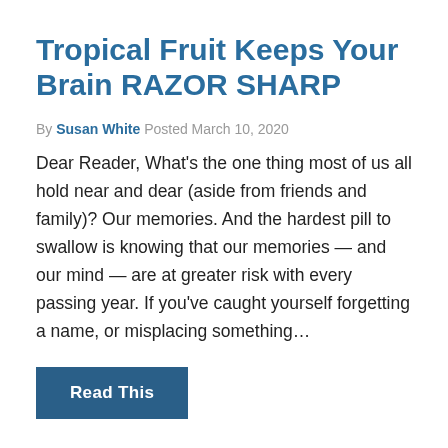Tropical Fruit Keeps Your Brain RAZOR SHARP
By Susan White Posted March 10, 2020
Dear Reader, What's the one thing most of us all hold near and dear (aside from friends and family)? Our memories. And the hardest pill to swallow is knowing that our memories — and our mind — are at greater risk with every passing year. If you've caught yourself forgetting a name, or misplacing something…